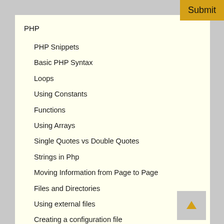PHP
PHP Snippets
Basic PHP Syntax
Loops
Using Constants
Functions
Using Arrays
Single Quotes vs Double Quotes
Strings in Php
Moving Information from Page to Page
Files and Directories
Using external files
Creating a configuration file
Parsing HTML with the Simple HTML DOM Library